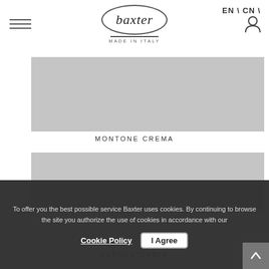EN \ CN \
[Figure (logo): Baxter Made in Italy logo in oval]
[Figure (illustration): Hamburger menu icon (three horizontal lines)]
[Figure (illustration): User/account icon]
[Figure (photo): Product image placeholder - Montone Crema (light gray rectangle)]
MONTONE CREMA
[Figure (photo): Product image placeholder - Nabuck Sable (light gray rectangle, partially visible)]
NABUCK SABLE
To offer you the best possible service Baxter uses cookies. By continuing to browse the site you authorize the use of cookies in accordance with our
Cookie Policy | Agree